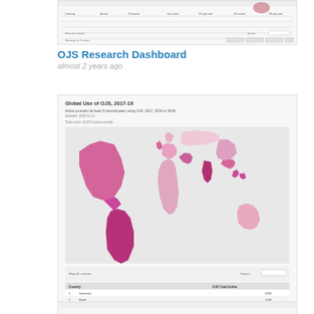[Figure (screenshot): Thumbnail screenshot of OJS Research Dashboard showing a table with columns Country, Active, Presents, and various other columns, with a small chart at top]
OJS Research Dashboard
almost 2 years ago
[Figure (map): Global Use of OJS, 2017-19 world map showing active journals using OJS in 2017, 2018 or 2019, with countries shaded in pink/magenta. Below the map is a table listing top countries including Indonesia, Brazil, India, Chile with OJS Total Active counts.]
OJS Usage Statistics
almost 2 years ago
[Figure (screenshot): Partial thumbnail of a third dashboard item, mostly white/blank at bottom of page]